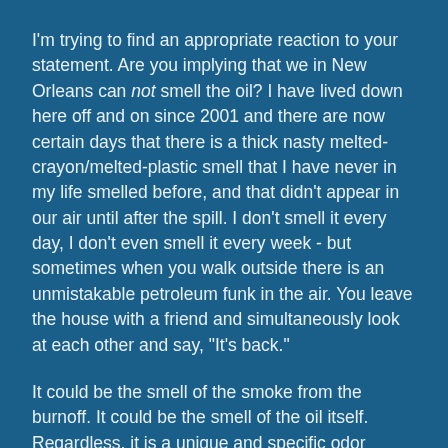I'm trying to find an appropriate reaction to your statement. Are you implying that we in New Orleans can not smell the oil? I have lived down here off and on since 2001 and there are now certain days that there is a thick nasty melted-crayon/melted-plastic smell that I have never in my life smelled before, and that didn't appear in our air until after the spill. I don't smell it every day, I don't even smell it every week - but sometimes when you walk outside there is an unmistakable petroleum funk in the air. You leave the house with a friend and simultaneously look at each other and say, "It's back."
It could be the smell of the smoke from the burnoff. It could be the smell of the oil itself. Regardless, it is a unique and specific odor detectable by humans.
If you're saying that no one here could smell the spill on Day One, I agree. That's a little silly. But if you're saying that no